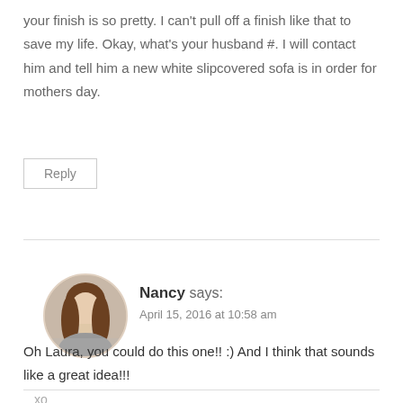your finish is so pretty. I can't pull off a finish like that to save my life. Okay, what's your husband #. I will contact him and tell him a new white slipcovered sofa is in order for mothers day.
Reply
Nancy says:
April 15, 2016 at 10:58 am
[Figure (photo): Circular avatar photo of a woman with long brown hair]
Oh Laura, you could do this one!! :) And I think that sounds like a great idea!!!
xo